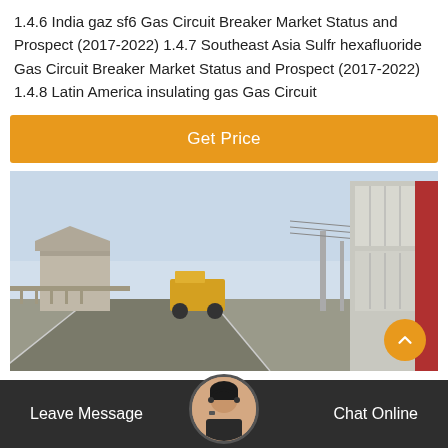1.4.6 India gaz sf6 Gas Circuit Breaker Market Status and Prospect (2017-2022) 1.4.7 Southeast Asia Sulfr hexafluoride Gas Circuit Breaker Market Status and Prospect (2017-2022) 1.4.8 Latin America insulating gas Gas Circuit
Get Price
[Figure (photo): Outdoor electrical substation with SF6 gas circuit breaker equipment, road, industrial structures, and a yellow construction vehicle in the background under a hazy sky.]
Leave Message   Chat Online